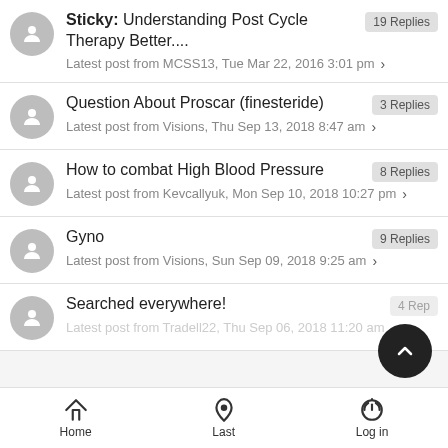Sticky: Understanding Post Cycle Therapy Better.... | 19 Replies | Latest post from MCSS13, Tue Mar 22, 2016 3:01 pm
Question About Proscar (finesteride) | 3 Replies | Latest post from Visions, Thu Sep 13, 2018 8:47 am
How to combat High Blood Pressure | 8 Replies | Latest post from Kevcallyuk, Mon Sep 10, 2018 10:27 pm
Gyno | 9 Replies | Latest post from Visions, Sun Sep 09, 2018 9:25 am
Searched everywhere! | 4 Replies | Latest post from Tradell22, Thu Sep 06, 2018 11:20 am
Home | Last | Log in